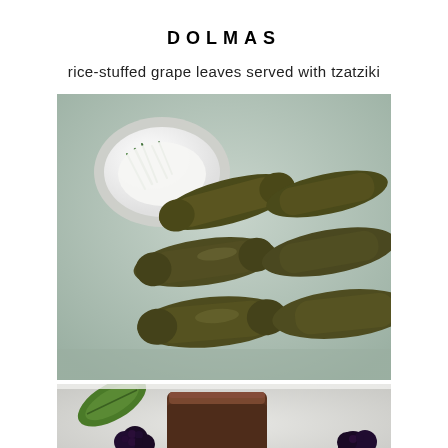DOLMAS
rice-stuffed grape leaves served with tzatziki
[Figure (photo): Overhead close-up of dolmas (rice-stuffed grape leaves) arranged on a light blue/grey tray, with a white bowl of tzatziki sauce garnished with chopped chives in the upper left corner.]
[Figure (photo): Partial view of a dessert plate with blackberries, a slice of chocolate cake or brownie, and a green garnish leaf, on a white surface.]